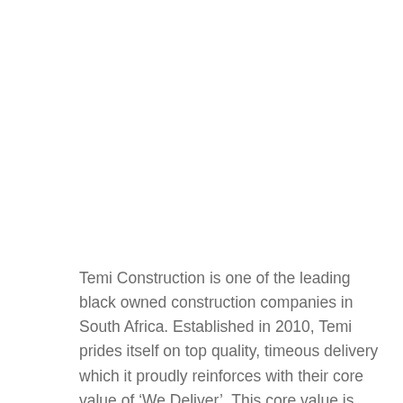Temi Construction is one of the leading black owned construction companies in South Africa. Established in 2010, Temi prides itself on top quality, timeous delivery which it proudly reinforces with their core value of 'We Deliver'. This core value is embraced by our team of experienced professionals, to ensure that every